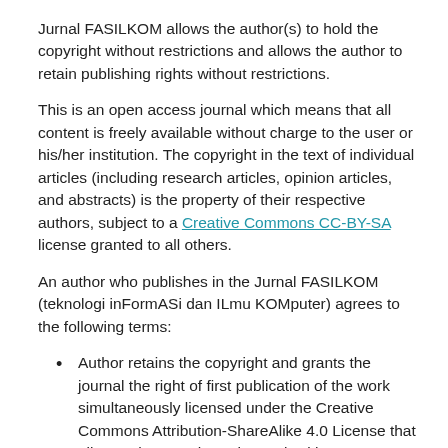Jurnal FASILKOM allows the author(s) to hold the copyright without restrictions and allows the author to retain publishing rights without restrictions.
This is an open access journal which means that all content is freely available without charge to the user or his/her institution. The copyright in the text of individual articles (including research articles, opinion articles, and abstracts) is the property of their respective authors, subject to a Creative Commons CC-BY-SA license granted to all others.
An author who publishes in the Jurnal FASILKOM (teknologi inFormASi dan ILmu KOMputer) agrees to the following terms:
Author retains the copyright and grants the journal the right of first publication of the work simultaneously licensed under the Creative Commons Attribution-ShareAlike 4.0 License that allows others to share the work with an acknowledgement of the work's authorship and